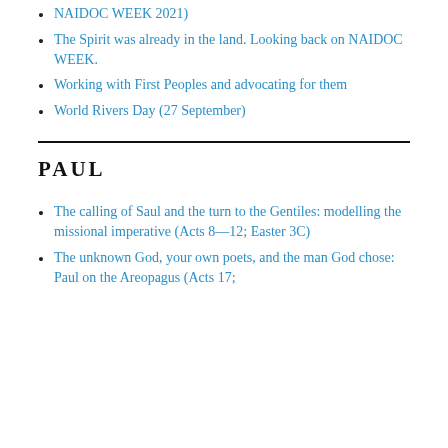NAIDOC WEEK 2021)
The Spirit was already in the land. Looking back on NAIDOC WEEK.
Working with First Peoples and advocating for them
World Rivers Day (27 September)
PAUL
The calling of Saul and the turn to the Gentiles: modelling the missional imperative (Acts 8—12; Easter 3C)
The unknown God, your own poets, and the man God chose: Paul on the Areopagus (Acts 17;